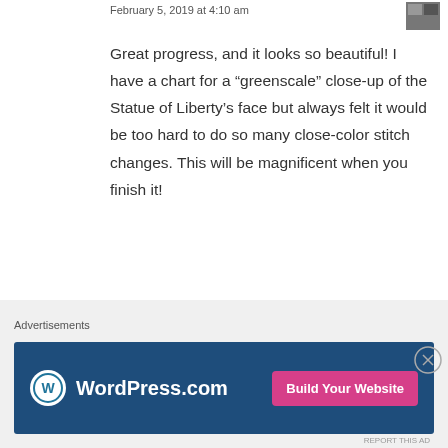February 5, 2019 at 4:10 am
Great progress, and it looks so beautiful! I have a chart for a “greenscale” close-up of the Statue of Liberty’s face but always felt it would be too hard to do so many close-color stitch changes. This will be magnificent when you finish it!
★ Like
Reply
rutigt
February 5, 2019 at 11:12 am
Advertisements
[Figure (infographic): WordPress.com advertisement banner with blue background, WordPress logo and text, and a pink 'Build Your Website' button]